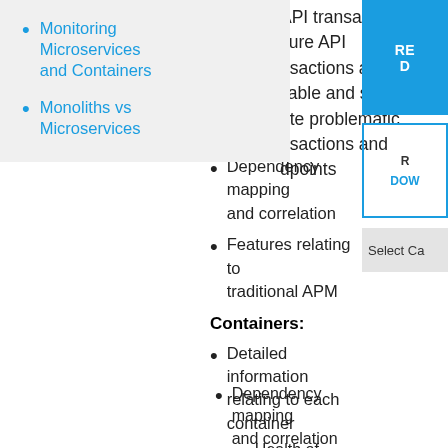Monitoring Microservices and Containers
Monoliths vs Microservices
| API transactions
sure API
nsactions are
ilable and stable
ate problematic
nsactions and
dpoints
Dependency mapping and correlation
Features relating to traditional APM
Containers:
Detailed information relating to each container
Health of clusters, master and slave nodes
Number of clusters
Nodes per cluster
Containers per cluster
RE
D
R
DOW
Select Ca